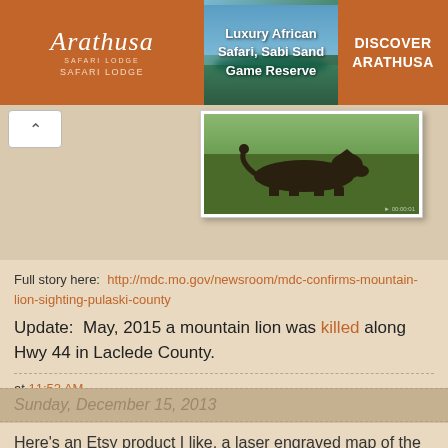[Figure (photo): Arathusa Safari Lodge ad banner with logo on left (brown background), landscape image of lake/safari in center, and 'DISCOVER ARATHUSA' call-to-action button on right. Text: 'Luxury African Safari, Sabi Sand Game Reserve']
[Figure (photo): Camera trap image of a mountain lion (cougar) walking through grass in a field, with white card/frame around it. Small watermark in bottom right corner.]
Full story here:  http://mdc.mo.gov/newsroom/mdc-confirms-mountain-lion-sighting-pulaski-county
Update:  May, 2015 a mountain lion was killed along Hwy 44 in Laclede County.
at 11:52 AM
Sunday, December 15, 2013
Here's an Etsy product I like, a laser engraved map of the lake with 20% 30% ...